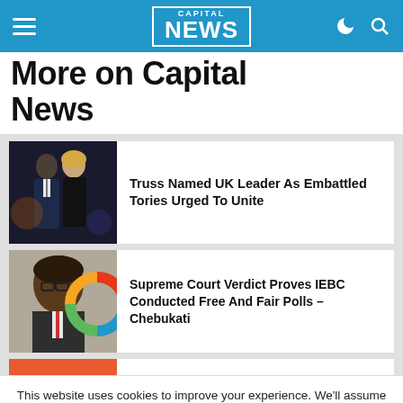Capital NEWS
More on Capital News
[Figure (photo): Two people standing together at a formal event, a man in a dark suit and a woman with blonde hair]
Truss Named UK Leader As Embattled Tories Urged To Unite
[Figure (photo): An elderly African man in a suit standing in front of a colorful circular logo]
Supreme Court Verdict Proves IEBC Conducted Free And Fair Polls – Chebukati
This website uses cookies to improve your experience. We'll assume you're ok with this, but you can opt-out if you wish.
Cookie settings   ACCEPT